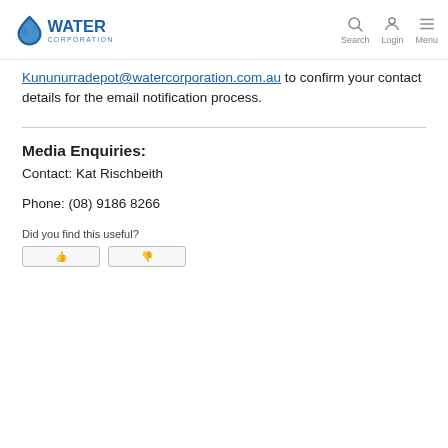Water Corporation — Search Login Menu
Kununurradepot@watercorporation.com.au to confirm your contact details for the email notification process.
Media Enquiries:
Contact: Kat Rischbeith
Phone: (08) 9186 8266
Did you find this useful?